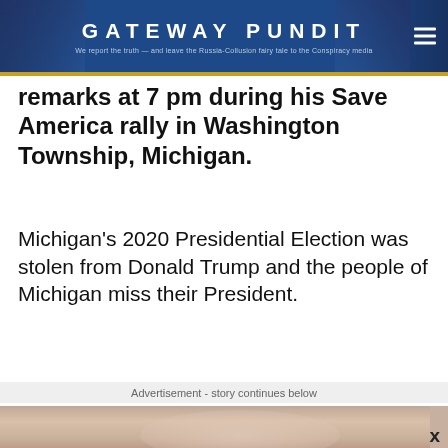GATEWAY PUNDIT — We report the truth — and leave the Russia-Collusion fairy tale to the Conspiracy media
remarks at 7 pm during his Save America rally in Washington Township, Michigan.
Michigan's 2020 Presidential Election was stolen from Donald Trump and the people of Michigan miss their President.
Advertisement - story continues below
[Figure (photo): Close-up photo used as advertisement banner with X close button]
Advertisement
[Figure (photo): Advertisement showing a woman in front of a brick wall with text 'Can We Interact With Physical Objects Using Only Our Thoughts?' by Brainberries]